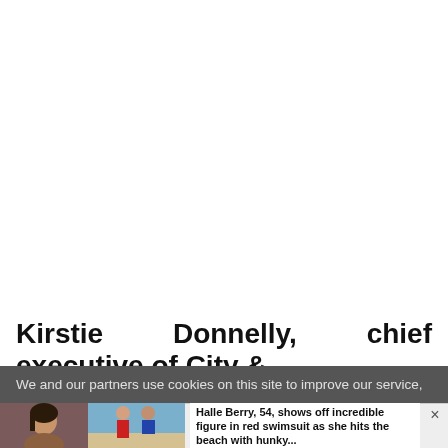[Figure (photo): Large white/blank area at the top of the page, representing a photo or content area that is mostly white]
Kirstie Donnelly, chief executive of City &
We and our partners use cookies on this site to improve our service,
[Figure (photo): Advertisement banner with two photos on the left (woman's face, couple on beach) and text on the right: 'Halle Berry, 54, shows off incredible figure in red swimsuit as she hits the beach with hunky...']
Halle Berry, 54, shows off incredible figure in red swimsuit as she hits the beach with hunky...